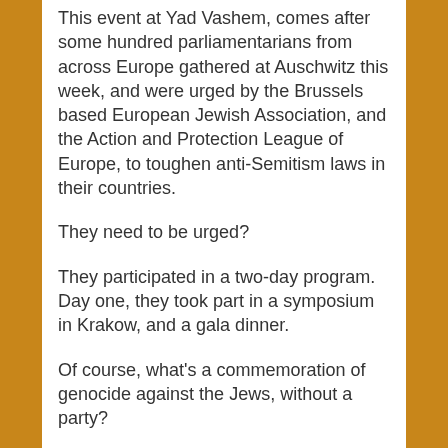This event at Yad Vashem, comes after some hundred parliamentarians from across Europe gathered at Auschwitz this week, and were urged by the Brussels based European Jewish Association, and the Action and Protection League of Europe, to toughen anti-Semitism laws in their countries.
They need to be urged?
They participated in a two-day program. Day one, they took part in a symposium in Krakow, and a gala dinner.
Of course, what's a commemoration of genocide against the Jews, without a party?
The meetings and dinner speeches, addressed the need for increased Holocaust education in Europe, a strengthened commitment to passing national legislation to fight hatred towards Jews, and outlaw the sale of Nazi memorabilia. Followed by a visit to Auschwitz-Birkenau,